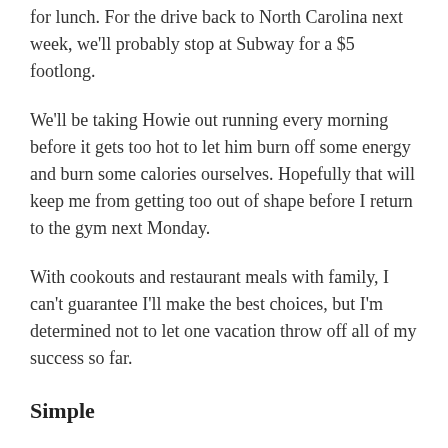for lunch. For the drive back to North Carolina next week, we'll probably stop at Subway for a $5 footlong.
We'll be taking Howie out running every morning before it gets too hot to let him burn off some energy and burn some calories ourselves. Hopefully that will keep me from getting too out of shape before I return to the gym next Monday.
With cookouts and restaurant meals with family, I can't guarantee I'll make the best choices, but I'm determined not to let one vacation throw off all of my success so far.
Simple
Last month we took money out of our car savings to replace our tires and change the oil, so our car is all set for another road trip. We just renewed our AAA membership for the year in May, so we have access to roadside assistance and towing on the off chance that something goes wrong.